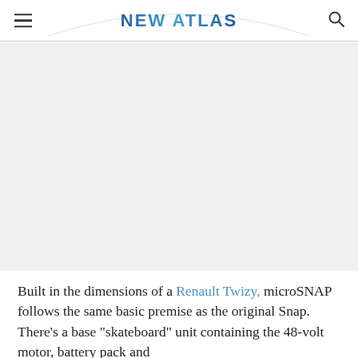NEW ATLAS
[Figure (photo): Large image placeholder area below the New Atlas header, content not visible]
Built in the dimensions of a Renault Twizy, microSNAP follows the same basic premise as the original Snap. There's a base "skateboard" unit containing the 48-volt motor, battery pack and